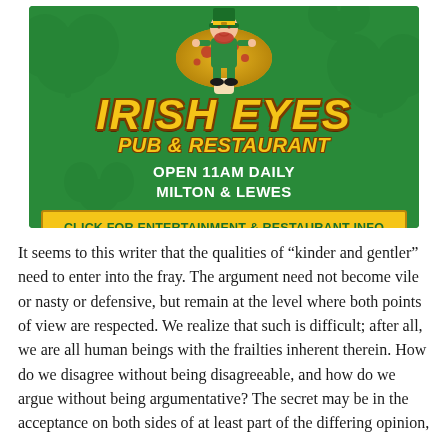[Figure (illustration): Irish Eyes Pub & Restaurant advertisement on green background with shamrock pattern, leprechaun mascot on mushroom, gold text logo, white text 'OPEN 11AM DAILY MILTON & LEWES', and yellow banner 'CLICK FOR ENTERTAINMENT & RESTAURANT INFO']
It seems to this writer that the qualities of “kinder and gentler” need to enter into the fray. The argument need not become vile or nasty or defensive, but remain at the level where both points of view are respected. We realize that such is difficult; after all, we are all human beings with the frailties inherent therein. How do we disagree without being disagreeable, and how do we argue without being argumentative? The secret may be in the acceptance on both sides of at least part of the differing opinion,